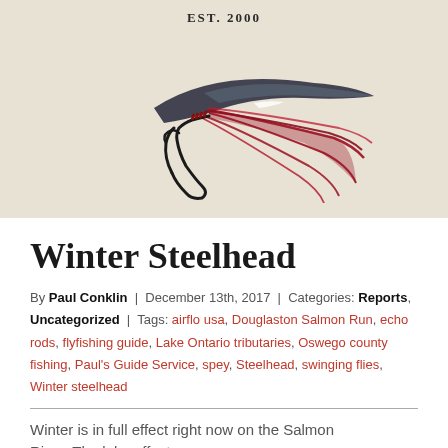[Figure (illustration): Fishing fly illustration on a textured beige/cream background with 'EST. 2000' text above. The fly features a dark feather wing and red feathers with a hook.]
Winter Steelhead
By Paul Conklin | December 13th, 2017 | Categories: Reports, Uncategorized | Tags: airflo usa, Douglaston Salmon Run, echo rods, flyfishing guide, Lake Ontario tributaries, Oswego county fishing, Paul's Guide Service, spey, Steelhead, swinging flies, Winter steelhead
Winter is in full effect right now on the Salmon River. The lake effect snow ...